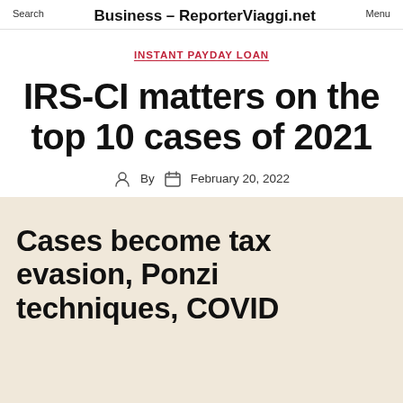Search | Business – ReporterViaggi.net | Menu
INSTANT PAYDAY LOAN
IRS-CI matters on the top 10 cases of 2021
By  February 20, 2022
Cases become tax evasion, Ponzi techniques, COVID